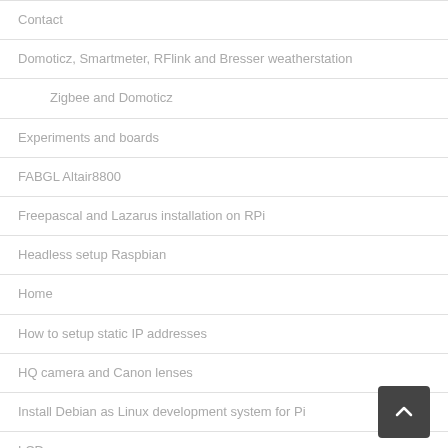Contact
Domoticz, Smartmeter, RFlink and Bresser weatherstation
Zigbee and Domoticz
Experiments and boards
FABGL Altair8800
Freepascal and Lazarus installation on RPi
Headless setup Raspbian
Home
How to setup static IP addresses
HQ camera and Canon lenses
Install Debian as Linux development system for Pi
LCD screen
Links
Low level graphics Raspberry Pi: framebuffer